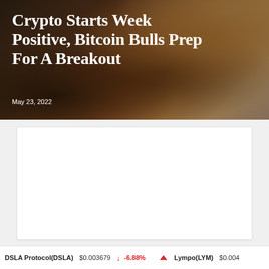[Figure (photo): Dark dramatic background image featuring smoke and warm orange/amber tones, used as header backdrop for a cryptocurrency news article.]
Crypto Starts Week Positive, Bitcoin Bulls Prep For A Breakout
May 23, 2022
[Figure (other): White rectangular content placeholder box below header area.]
DSLA Protocol(DSLA) $0.003679 ↓ -6.88% Lympo(LYM) $0.004...